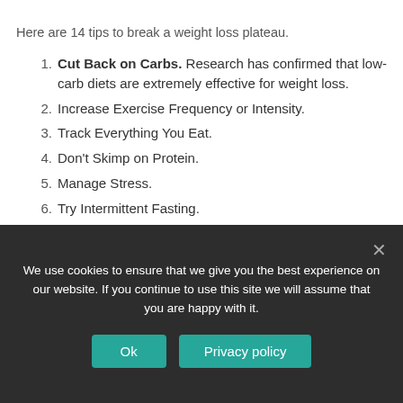Here are 14 tips to break a weight loss plateau.
Cut Back on Carbs. Research has confirmed that low-carb diets are extremely effective for weight loss.
Increase Exercise Frequency or Intensity.
Track Everything You Eat.
Don't Skimp on Protein.
Manage Stress.
Try Intermittent Fasting.
Avoid Alcohol.
Eat More Fiber.
How much weight do you need
We use cookies to ensure that we give you the best experience on our website. If you continue to use this site we will assume that you are happy with it.